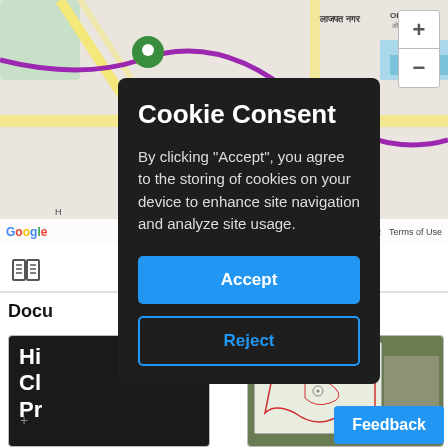[Figure (screenshot): Google Maps view showing area around Lajpat Nagar, Nehru Place, Kalkaji, Okhla in New Delhi with zoom controls (+/-), map attribution showing 'Keyboard shortcuts', 'Map data ©2022', 'Terms of Use', and Google logo]
[Figure (screenshot): Webpage section below map with book/map icon and partial heading starting with 'Docu']
[Figure (infographic): Cookie consent dialog overlay on dark background with title 'Cookie Consent', body text, Accept and Reject buttons]
Cookie Consent
By clicking "Accept", you agree to the storing of cookies on your device to enhance site navigation and analyze site usage.
Accept
Reject
Docu
Feedback